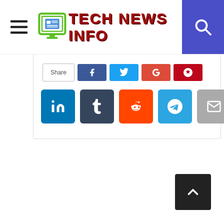TECH NEWS INFO
[Figure (screenshot): Social media share buttons row 1: Share, Facebook, Twitter, Google+, Pinterest]
[Figure (screenshot): Social media share buttons row 2: LinkedIn, Tumblr, Reddit, Telegram, Email]
[Figure (screenshot): Back to top button (dark arrow up button) in bottom right corner]